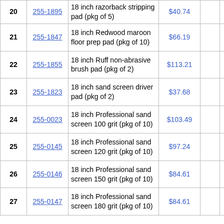| # | ID | Description | Price |  |  | Shipping |
| --- | --- | --- | --- | --- | --- | --- |
| 20 | 255-1895 | 18 inch razorback stripping pad (pkg of 5) | $40.74 |  |  | ships 24-29 days |
| 21 | 255-1847 | 18 inch Redwood maroon floor prep pad (pkg of 10) | $66.19 |  |  | usually ships 24-29 days |
| 22 | 255-1855 | 18 inch Ruff non-abrasive brush pad (pkg of 2) | $113.21 |  |  | usually ships 24-29 days |
| 23 | 255-1823 | 18 inch sand screen driver pad (pkg of 2) | $37.68 |  |  | usually ships 24-29 days |
| 24 | 255-0023 | 18 inch Professional sand screen 100 grit (pkg of 10) | $103.49 |  |  | usually ships 24-29 days |
| 25 | 255-0145 | 18 inch Professional sand screen 120 grit (pkg of 10) | $97.24 |  |  | usually ships 24-29 days |
| 26 | 255-0146 | 18 inch Professional sand screen 150 grit (pkg of 10) | $84.61 |  |  | usually ships 24-29 days |
| 27 | 255-0147 | 18 inch Professional sand screen 180 grit (pkg of 10) | $84.61 |  |  | usually ships 24-29 days |